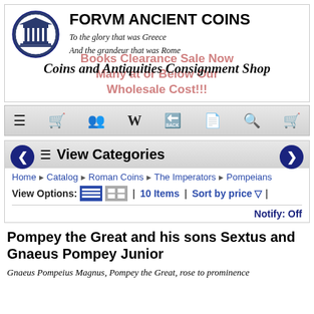[Figure (logo): Forum Ancient Coins logo with Greek temple columns in dark blue circular seal]
FORVM ANCIENT COINS
To the glory that was Greece
And the grandeur that was Rome
Coins and Antiquities Consignment Shop
Books Clearance Sale Now
Many at or Below Our Wholesale Cost!!!
[Figure (screenshot): Navigation bar with icons: hamburger menu, shop, people, Wikipedia W, arrow, document, search, cart]
View Categories
Home ▶ Catalog ▶ Roman Coins ▶ The Imperators ▶ Pompeians
View Options: [list view] [grid view] | 10 Items | Sort by price ▽ |
Notify: Off
Pompey the Great and his sons Sextus and Gnaeus Pompey Junior
Gnaeus Pompeius Magnus, Pompey the Great, rose to prominence